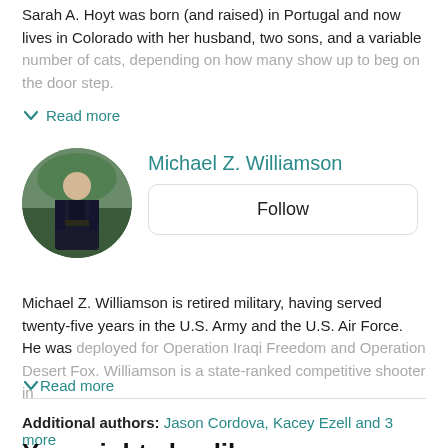Sarah A. Hoyt was born (and raised) in Portugal and now lives in Colorado with her husband, two sons, and a variable number of cats, depending on how many show up to beg on the door step.
Read more
[Figure (photo): Circular profile photo of Michael Z. Williamson, a man in dark military-style clothing standing outdoors]
Michael Z. Williamson
Follow
Michael Z. Williamson is retired military, having served twenty-five years in the U.S. Army and the U.S. Air Force. He was deployed for Operation Iraqi Freedom and Operation Desert Fox. Williamson is a state-ranked competitive shooter in
Read more
Additional authors: Jason Cordova, Kacey Ezell and 3 more
You might also like